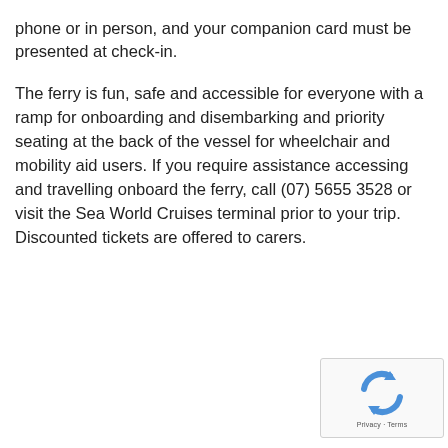phone or in person, and your companion card must be presented at check-in.

The ferry is fun, safe and accessible for everyone with a ramp for onboarding and disembarking and priority seating at the back of the vessel for wheelchair and mobility aid users. If you require assistance accessing and travelling onboard the ferry, call (07) 5655 3528 or visit the Sea World Cruises terminal prior to your trip. Discounted tickets are offered to carers.
[Figure (logo): reCAPTCHA widget showing recycling-arrows icon and 'Privacy · Terms' text]